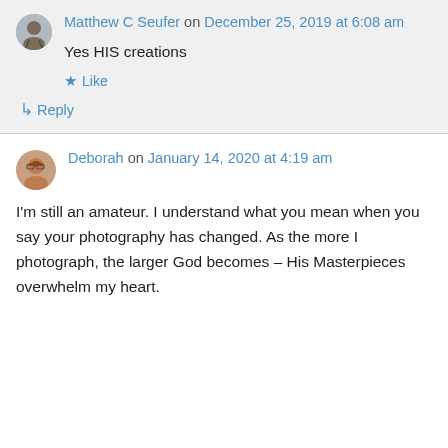Matthew C Seufer on December 25, 2019 at 6:08 am
Yes HIS creations
★ Like
↳ Reply
Deborah on January 14, 2020 at 4:19 am
I'm still an amateur. I understand what you mean when you say your photography has changed. As the more I photograph, the larger God becomes – His Masterpieces overwhelm my heart.